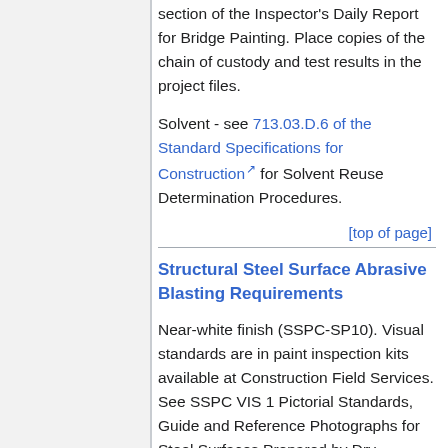section of the Inspector's Daily Report for Bridge Painting. Place copies of the chain of custody and test results in the project files.
Solvent - see 713.03.D.6 of the Standard Specifications for Construction for Solvent Reuse Determination Procedures.
[top of page]
Structural Steel Surface Abrasive Blasting Requirements
Near-white finish (SSPC-SP10). Visual standards are in paint inspection kits available at Construction Field Services. See SSPC VIS 1 Pictorial Standards, Guide and Reference Photographs for Steel Surfaces Prepared by Dry Abrasive Blasting or SSPC Guide to Visual